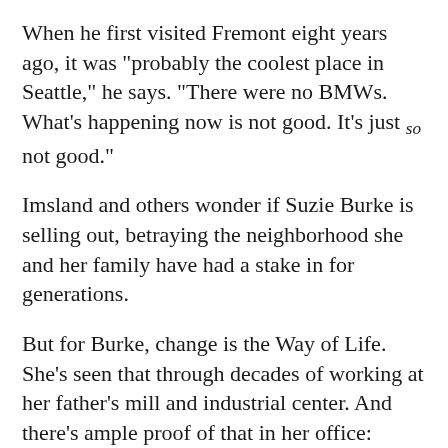When he first visited Fremont eight years ago, it was "probably the coolest place in Seattle," he says. "There were no BMWs. What's happening now is not good. It's just so not good."
Imsland and others wonder if Suzie Burke is selling out, betraying the neighborhood she and her family have had a stake in for generations.
But for Burke, change is the Way of Life. She's seen that through decades of working at her father's mill and industrial center. And there's ample proof of that in her office: photos and sketches of the neighborhood way back when Fremont looked the way the Duwamish industrial area does now.
Says Burke: "When someone says to me: `What a shame about all the changes in Fremont,' I say: